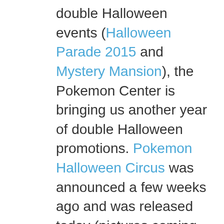double Halloween events (Halloween Parade 2015 and Mystery Mansion), the Pokemon Center is bringing us another year of double Halloween promotions. Pokemon Halloween Circus was announced a few weeks ago and was released today (pictures coming soon!) and the Center just announced a more gothic themed Halloween promotion, Masquerade Party, coming to all Pokemon Centers and Stores in Japan on September 17th.

Although the majority of items included to the line — ment before.